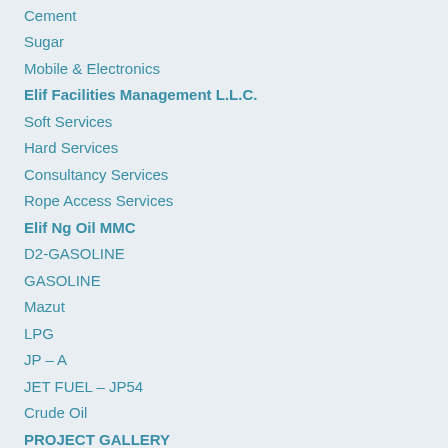Cement
Sugar
Mobile & Electronics
Elif Facilities Management L.L.C.
Soft Services
Hard Services
Consultancy Services
Rope Access Services
Elif Ng Oil MMC
D2-GASOLINE
GASOLINE
Mazut
LPG
JP – A
JET FUEL – JP54
Crude Oil
PROJECT GALLERY
Careers
Contact Us
Global Presence